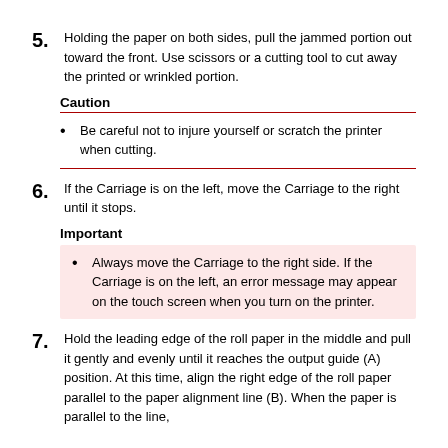5. Holding the paper on both sides, pull the jammed portion out toward the front. Use scissors or a cutting tool to cut away the printed or wrinkled portion.
Caution
Be careful not to injure yourself or scratch the printer when cutting.
6. If the Carriage is on the left, move the Carriage to the right until it stops.
Important
Always move the Carriage to the right side. If the Carriage is on the left, an error message may appear on the touch screen when you turn on the printer.
7. Hold the leading edge of the roll paper in the middle and pull it gently and evenly until it reaches the output guide (A) position. At this time, align the right edge of the roll paper parallel to the paper alignment line (B). When the paper is parallel to the line,